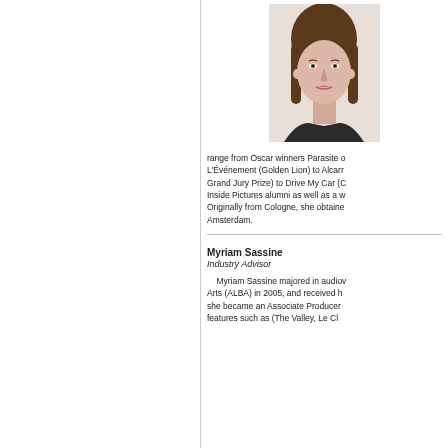[Figure (photo): Headshot portrait of a young woman with long brown hair against a white background]
range from Oscar winners Parasite or L'Événement (Golden Lion) to Alcarràs (Grand Jury Prize) to Drive My Car (C... Inside Pictures alumni as well as a w... Originally from Cologne, she obtained... Amsterdam.
Myriam Sassine
Industry Advisor
Myriam Sassine majored in audiov... Arts (ALBA) in 2005, and received h... she became an Associate Producer... features such as (The Valley, Le Cl...